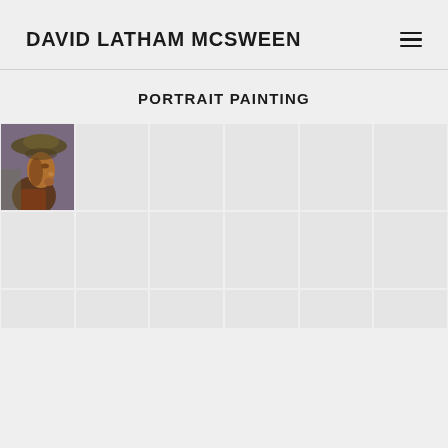DAVID LATHAM MCSWEEN
PORTRAIT PAINTING
[Figure (photo): A portrait painting of a person wearing a wide-brimmed hat, shown in profile, with warm ochre and brown tones against a purple-grey background.]
[Figure (photo): Grid of placeholder image cells for portrait painting gallery thumbnails.]